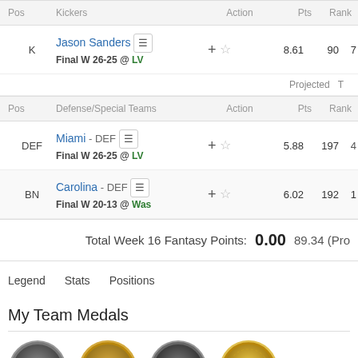| Pos | Kickers | Action | Pts | Rank |
| --- | --- | --- | --- | --- |
| K | Jason Sanders Final W 26-25 @ LV |  | 8.61 | 90 | 7 |
| Pos | Defense/Special Teams | Action | Pts | Rank |
| --- | --- | --- | --- | --- |
| DEF | Miami - DEF Final W 26-25 @ LV |  | 5.88 | 197 |  |
| BN | Carolina - DEF Final W 20-13 @ Was |  | 6.02 | 192 | 1 |
Total Week 16 Fantasy Points: 0.00 89.34 (Projected)
Legend  Stats  Positions
My Team Medals